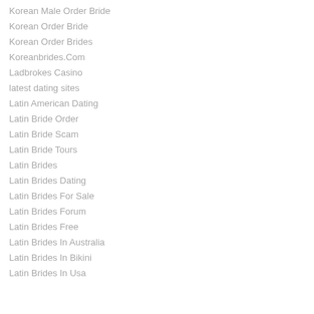Korean Male Order Bride
Korean Order Bride
Korean Order Brides
Koreanbrides.Com
Ladbrokes Casino
latest dating sites
Latin American Dating
Latin Bride Order
Latin Bride Scam
Latin Bride Tours
Latin Brides
Latin Brides Dating
Latin Brides For Sale
Latin Brides Forum
Latin Brides Free
Latin Brides In Australia
Latin Brides In Bikini
Latin Brides In Usa